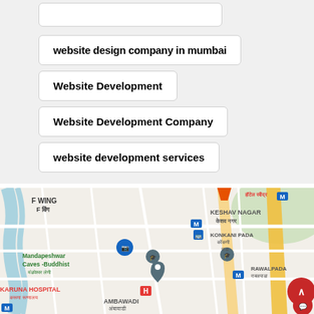website design company in mumbai
Website Development
Website Development Company
website development services
[Figure (map): Google Maps screenshot showing an area of Mumbai including F Wing (F विंग), Mandapeshwar Caves Buddhist (मंडपेश्वर लेणी), Karuna Hospital (करुणा रूग्णालय), Keshav Nagar (केशव नगर), Konkani Pada (कोंकणी पाडा), Rawalpada (राबळपाडा), Ambawadi (अंबावाडी), with metro stations, roads, and landmarks shown.]